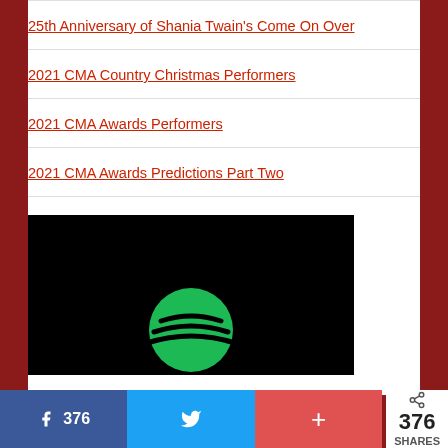25th Anniversary of Shania Twain's Come On Over
2021 CMA Country Christmas Performers
2021 CMA Awards Performers
2021 CMA Awards Predictions Part Two
[Figure (screenshot): Spotify player embed with black background and green Spotify logo visible at bottom center]
376  376 SHARES